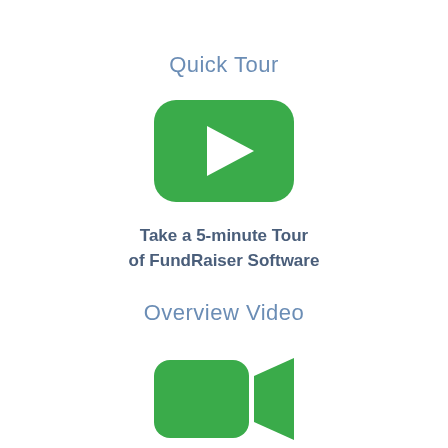Quick Tour
[Figure (illustration): Green rounded rectangle play button icon (YouTube-style) with a white right-pointing triangle/play arrow in the center]
Take a 5-minute Tour
of FundRaiser Software
Overview Video
[Figure (illustration): Green video camera icon with a rounded rectangular body on the left and a triangular/arrow head on the right]
Take a 30-minute Overview